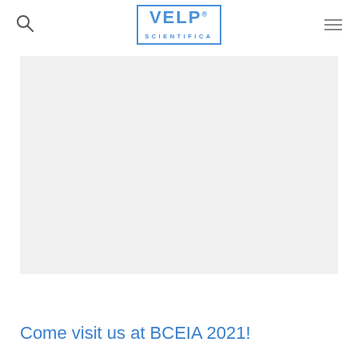VELP SCIENTIFICA
[Figure (photo): Large gray placeholder image area for BCEIA 2021 event content]
Come visit us at BCEIA 2021!